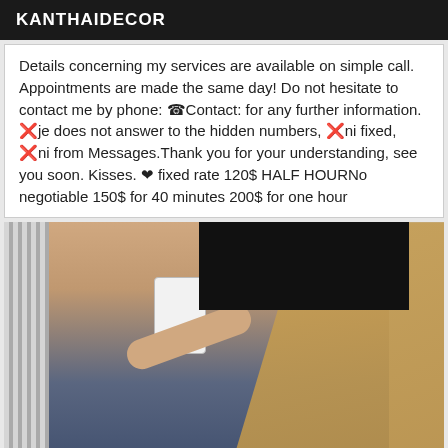KANTHAIDECOR
Details concerning my services are available on simple call. Appointments are made the same day! Do not hesitate to contact me by phone: ☎Contact: for any further information. ❌je does not answer to the hidden numbers, ❌ni fixed, ❌ni from Messages.Thank you for your understanding, see you soon. Kisses. ❤ fixed rate 120$ HALF HOURNo negotiable 150$ for 40 minutes 200$ for one hour
[Figure (photo): A person taking a selfie in a mirror wearing a dark bra/bustier, with long blonde hair. The face is obscured by a black redaction bar. Background shows tiled walls and a radiator.]